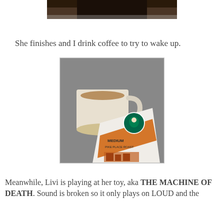[Figure (photo): Partial top image cropped at the top of the page, dark/brown tones, partially visible]
She finishes and I drink coffee to try to wake up.
[Figure (photo): Photo of a white coffee mug filled with light brown coffee sitting next to a Starbucks Medium Pike Place Roast coffee bag, on a gray surface]
Meanwhile, Livi is playing at her toy, aka THE MACHINE OF DEATH. Sound is broken so it only plays on LOUD and the